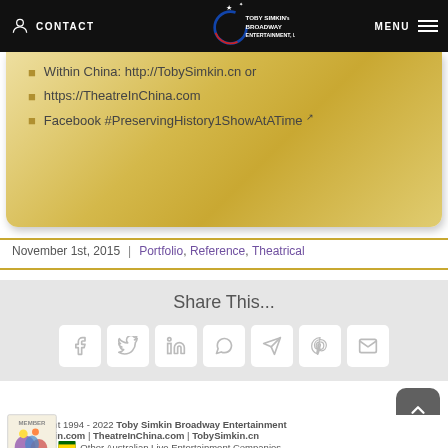CONTACT | TOBY SIMKIN's BROADWAY ENTERTAINMENT, LLC | MENU
Within China: http://TobySimkin.cn or
https://TheatreInChina.com
Facebook #PreservingHistory1ShowAtATime
November 1st, 2015  |  Portfolio, Reference, Theatrical
Share This...
[Figure (infographic): Social share icons: Facebook, Twitter, LinkedIn, WhatsApp, Telegram, Pinterest, Email]
© Copyright 1994 - 2022 Toby Simkin Broadway Entertainment TobySimkin.com | TheatreInChina.com | TobySimkin.cn Login | Other Australian Live Entertainment Companies